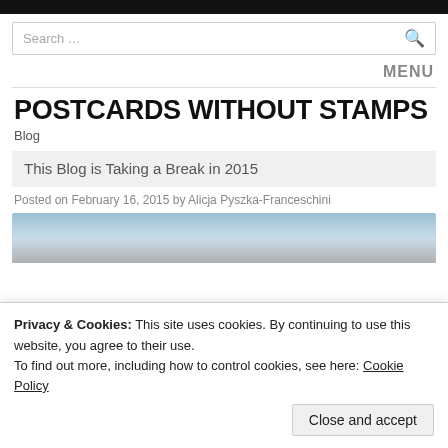Search …
MENU
POSTCARDS WITHOUT STAMPS
Blog
This Blog is Taking a Break in 2015
Posted on February 16, 2015 by Alicja Pyszka-Franceschini
[Figure (photo): Partial view of a photo strip showing sky and food images]
Privacy & Cookies: This site uses cookies. By continuing to use this website, you agree to their use.
To find out more, including how to control cookies, see here: Cookie Policy
Close and accept